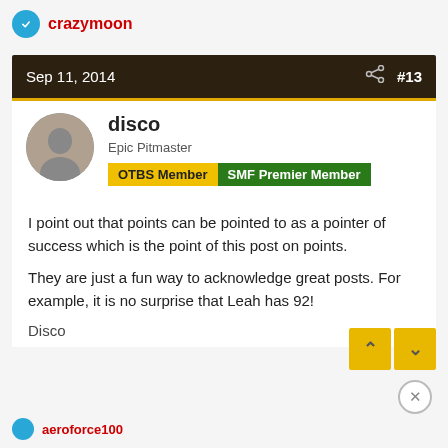crazymoon
Sep 11, 2014  #13
disco
Epic Pitmaster
OTBS Member  SMF Premier Member
I point out that points can be pointed to as a pointer of success which is the point of this post on points.
They are just a fun way to acknowledge great posts. For example, it is no surprise that Leah has 92!
Disco
aeroforce100